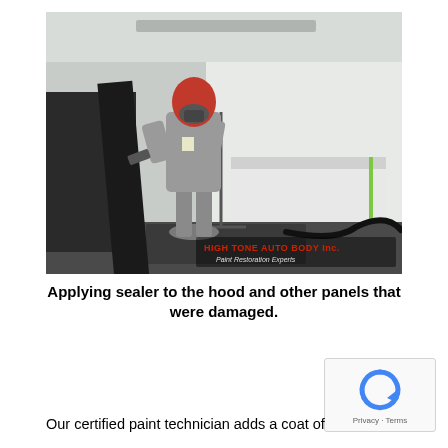[Figure (photo): A paint technician in full protective gear (gray suit, red hood/mask) using a spray gun to apply sealer inside a paint booth. A vehicle part (hood) is mounted vertically on the left. A white-covered object sits in the background. The bottom right of the image has a watermark reading 'HIGH TONE AUTO BODY Inc.' and 'Paint Restoration Experts'.]
Applying sealer to the hood and other panels that were damaged.
Our certified paint technician adds a coat of